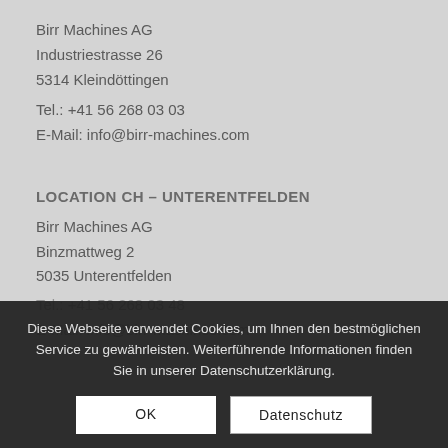Birr Machines AG
Industriestrasse 26
5314 Kleindöttingen
Tel.: +41 56 268 03 03
E-Mail: info@birr-machines.com
LOCATION CH – UNTERENTFELDEN
Birr Machines AG
Binzmattweg 2
5035 Unterentfelden
Tel.: +41 56 268 03 48
E-Mail: info@birr-machines.com
Diese Webseite verwendet Cookies, um Ihnen den bestmöglichen Service zu gewährleisten. Weiterführende Informationen finden Sie in unserer Datenschutzerklärung.
OK
Datenschutz